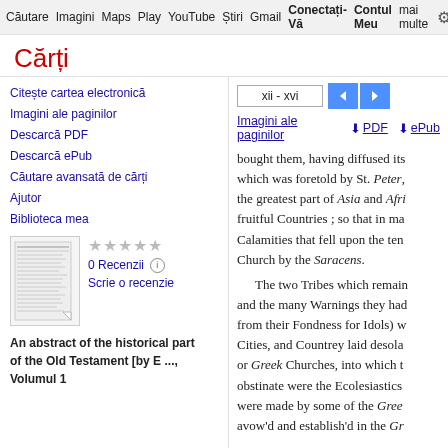Căutare  Imagini  Maps  Play  YouTube  Știri  Gmail  Contul Meu  mai multe  Conectați-Vă
Cărți
Citește cartea electronică
Imagini ale paginilor
Descarcă PDF
Descarcă ePub
Căutare avansată de cărți
Ajutor
Biblioteca mea
0 Recenzii
Scrie o recenzie
An abstract of the historical part of the Old Testament [by E ..., Volumul 1
xii - xvi
Imagini ale paginilor  ⬇ PDF  ⬇ ePub
bought them, having diffused its which was foretold by St. Peter, the greatest part of Asia and Afri fruitful Countries ; so that in ma Calamities that fell upon the ten Church by the Saracens.
    The two Tribes which remain and the many Warnings they had from their Fondness for Idols) w Cities, and Countrey laid desola or Greek Churches, into which t obstinate were the Ecolesiastics were made by some of the Gree avow'd and establish'd in the Gr